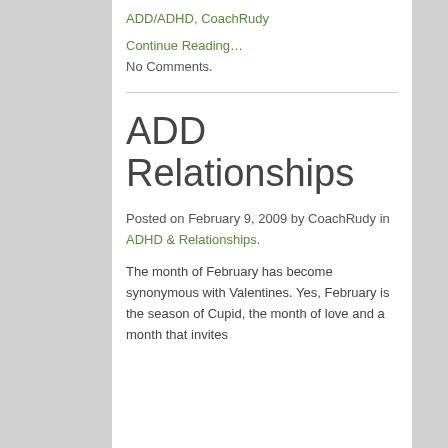ADD/ADHD, CoachRudy
Continue Reading…
No Comments.
ADD Relationships
Posted on February 9, 2009 by CoachRudy in ADHD & Relationships.
The month of February has become synonymous with Valentines. Yes, February is the season of Cupid, the month of love and a month that invites